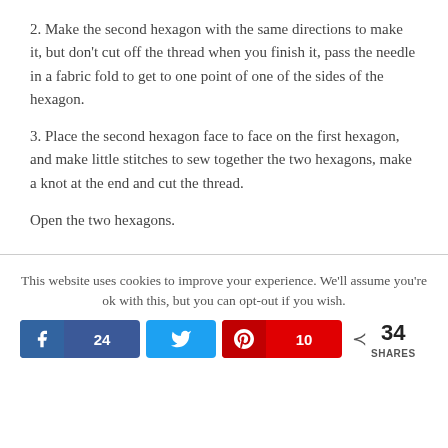2. Make the second hexagon with the same directions to make it, but don't cut off the thread when you finish it, pass the needle in a fabric fold to get to one point of one of the sides of the hexagon.
3. Place the second hexagon face to face on the first hexagon, and make little stitches to sew together the two hexagons, make a knot at the end and cut the thread.
Open the two hexagons.
This website uses cookies to improve your experience. We'll assume you're ok with this, but you can opt-out if you wish.
Facebook 24 | Twitter | Pinterest 10 | 34 SHARES